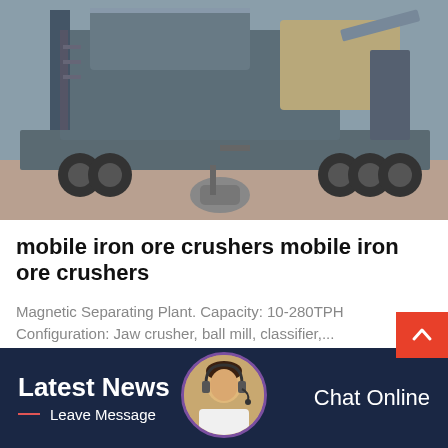[Figure (photo): Large industrial mobile iron ore crusher machine on a flatbed trailer, photographed in a warehouse/industrial facility. The machine is grey/dark colored with heavy-duty components, hydraulic systems, and large wheels visible.]
mobile iron ore crushers mobile iron ore crushers
Magnetic Separating Plant. Capacity: 10-280TPH
Configuration: Jaw crusher, ball mill, classifier,...
Latest News
Leave Message
Chat Online